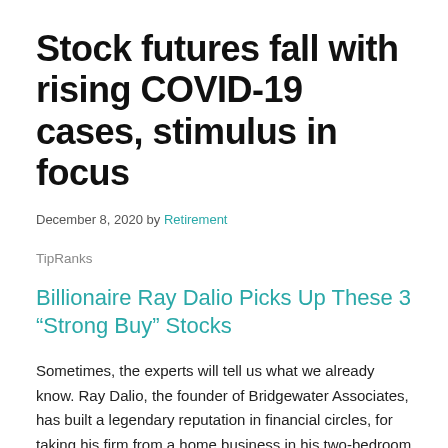Stock futures fall with rising COVID-19 cases, stimulus in focus
December 8, 2020 by Retirement
TipRanks
Billionaire Ray Dalio Picks Up These 3 “Strong Buy” Stocks
Sometimes, the experts will tell us what we already know. Ray Dalio, the founder of Bridgewater Associates, has built a legendary reputation in financial circles, for taking his firm from a home business in his two-bedroom apartment to the international hedge fund giant, employing over 1,500 people and managing more than